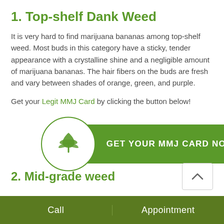1. Top-shelf Dank Weed
It is very hard to find marijuana bananas among top-shelf weed. Most buds in this category have a sticky, tender appearance with a crystalline shine and a negligible amount of marijuana bananas. The hair fibers on the buds are fresh and vary between shades of orange, green, and purple.
Get your Legit MMJ Card by clicking the button below!
[Figure (infographic): A green rounded-rectangle button with a cannabis leaf icon in a white circle on the left side. Button text reads GET YOUR MMJ CARD NOW in white bold letters.]
2. Mid-grade weed
Call | Appointment